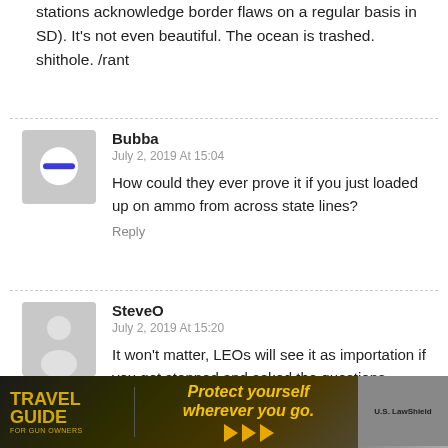stations acknowledge border flaws on a regular basis in SD). It's not even beautiful. The ocean is trashed. shithole. /rant
Bubba
July 2, 2019 At 15:04
How could they ever prove it if you just loaded up on ammo from across state lines?
Reply
SteveO
July 2, 2019 At 15:20
It won't matter, LEOs will see it as importation if you get stopped and asked the questions. "Where 'ya coming from? Been drinking? Any drugs or paraphernalia? Any ammunition? Mind
[Figure (advertisement): Travel Guide for Gun Owners ad banner with 'Protect yourself wherever you go.' text and US LawShield branding]